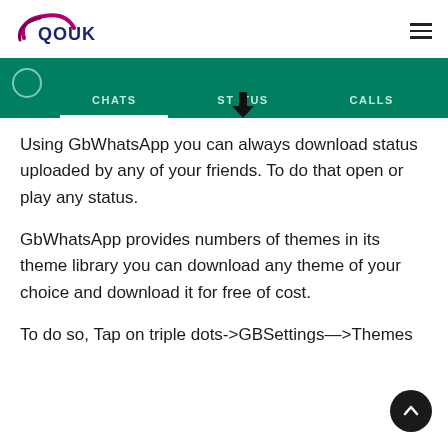QOUK
[Figure (screenshot): WhatsApp-like app interface showing a dark green navigation bar with tabs: CHATS, STATUS, CALLS. A circle/camera icon is on the left. The STATUS tab has a black downward arrow above it.]
Using GbWhatsApp you can always download status uploaded by any of your friends. To do that open or play any status.
GbWhatsApp provides numbers of themes in its theme library you can download any theme of your choice and download it for free of cost.
To do so, Tap on triple dots->GBSettings—>Themes